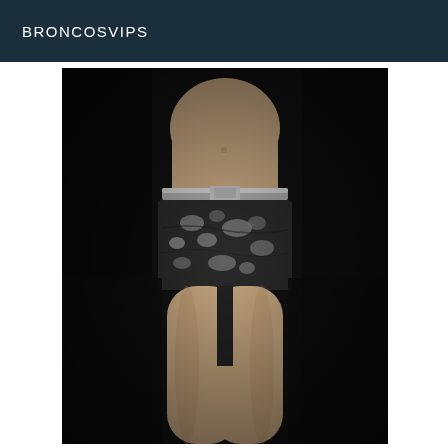BRONCOSVIPS
[Figure (photo): A person from torso to legs wearing patterned black and white shorts with a metallic waistband, photographed against a dark background. Only the midsection and legs are visible.]